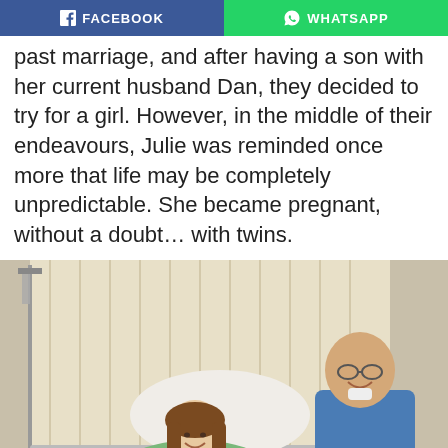FACEBOOK | WHATSAPP
past marriage, and after having a son with her current husband Dan, they decided to try for a girl. However, in the middle of their endeavours, Julie was reminded once more that life may be completely unpredictable. She became pregnant, without a doubt… with twins.
[Figure (photo): A woman in a hospital bed holding two newborn twins, smiling, with a bald man in blue scrubs standing beside her. Hospital room with vertical blinds in background and an IV drip stand visible.]